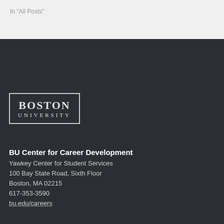In "All Posts"
[Figure (logo): Boston University logo: rectangular border with 'BOSTON' in large serif font and 'UNIVERSITY' in smaller spaced serif font below]
BU Center for Career Development
Yawkey Center for Student Services
100 Bay State Road, Sixth Floor
Boston, MA 02215
617-353-3590
bu.edu/careers
Follow Us